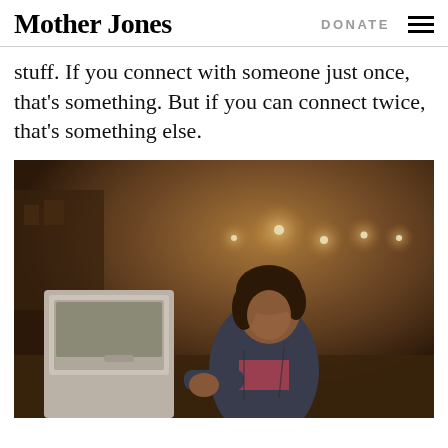Mother Jones | DONATE
stuff. If you connect with someone just once, that's something. But if you can connect twice, that's something else.
[Figure (photo): A woman wearing a denim jacket leans into a car window at night on a foggy street with glowing streetlights in the background.]